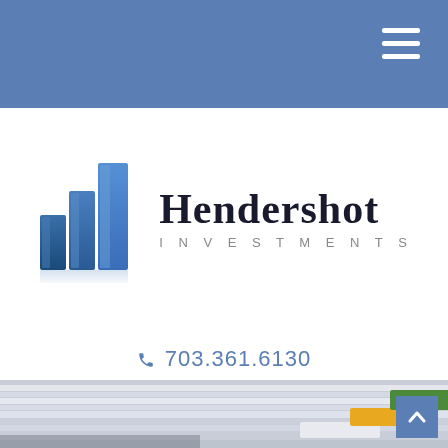[Figure (logo): Hendershot Investments logo with blue 3D bar chart buildings icon and company name in serif font with INVESTMENTS in spaced sans-serif below]
703.361.6130
[Figure (photo): Close-up photo of stacked papers and documents with colorful file tabs (white, yellow, green) visible on the right side, blue-grey tones]